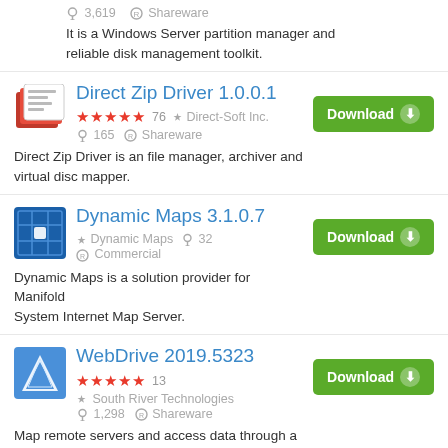3,619  Shareware
It is a Windows Server partition manager and reliable disk management toolkit.
Direct Zip Driver 1.0.0.1
★★★★★ 76  Direct-Soft Inc.  165  Shareware
Direct Zip Driver is an file manager, archiver and virtual disc mapper.
Dynamic Maps 3.1.0.7
Dynamic Maps  32  Commercial
Dynamic Maps is a solution provider for Manifold System Internet Map Server.
WebDrive 2019.5323
★★★★★ 13  South River Technologies  1,298  Shareware
Map remote servers and access data through a